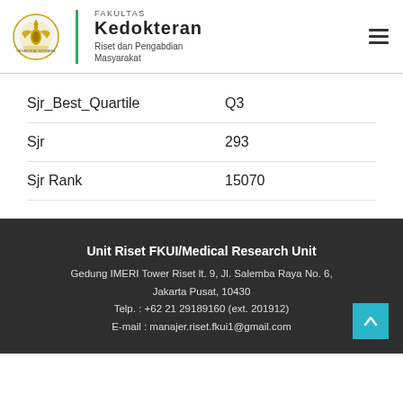[Figure (logo): Universitas Indonesia Fakultas Kedokteran logo with golden emblem and green vertical bar, with text FAKULTAS KEDOKTERAN, Riset dan Pengabdian Masyarakat]
| Sjr_Best_Quartile | Q3 |
| Sjr | 293 |
| Sjr Rank | 15070 |
Unit Riset FKUI/Medical Research Unit
Gedung IMERI Tower Riset lt. 9, Jl. Salemba Raya No. 6, Jakarta Pusat, 10430
Telp. : +62 21 29189160 (ext. 201912)
E-mail : manajer.riset.fkui1@gmail.com